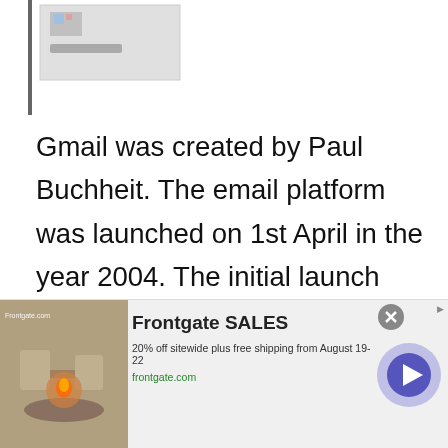[Figure (screenshot): Top portion of a browser/app screenshot showing a thumbnail image with icon and text label]
Gmail was created by Paul Buchheit. The email platform was launched on 1st April in the year 2004. The initial launch had provided only one gigabyte of storage space to the users.
[Figure (other): Pink/magenta circle play button icon]
It has over 1.5 billion active users as of 2019. The content license of Gmail is
[Figure (other): Advertisement banner: Frontgate SALES - 20% off sitewide plus free shipping from August 19-22, frontgate.com]